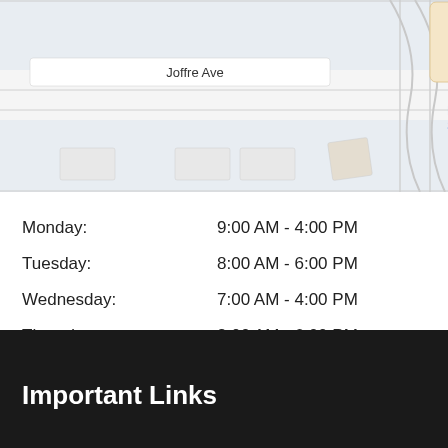[Figure (map): Street map showing Joffre Ave and Dillard Square Shopping Center area with roads and building outlines]
| Day | Hours |
| --- | --- |
| Monday: | 9:00 AM - 4:00 PM |
| Tuesday: | 8:00 AM - 6:00 PM |
| Wednesday: | 7:00 AM - 4:00 PM |
| Thursday: | 8:00 AM - 6:00 PM |
| Friday: | 8:00 AM - 4:00 PM |
| Saturday: | Closed |
| Sunday: | Closed |
Important Links